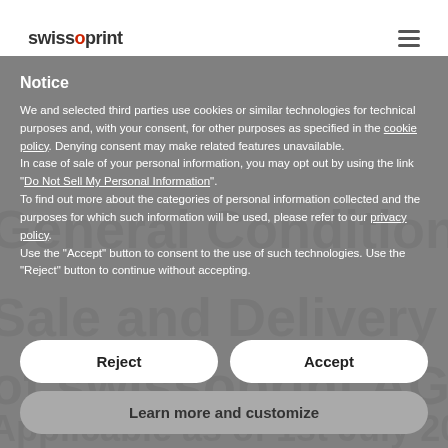swissoprint
Notice
We and selected third parties use cookies or similar technologies for technical purposes and, with your consent, for other purposes as specified in the cookie policy. Denying consent may make related features unavailable.
In case of sale of your personal information, you may opt out by using the link "Do Not Sell My Personal Information".
To find out more about the categories of personal information collected and the purposes for which such information will be used, please refer to our privacy policy.
Use the "Accept" button to consent to the use of such technologies. Use the "Reject" button to continue without accepting.
Reject
Accept
Learn more and customize
1. Validity